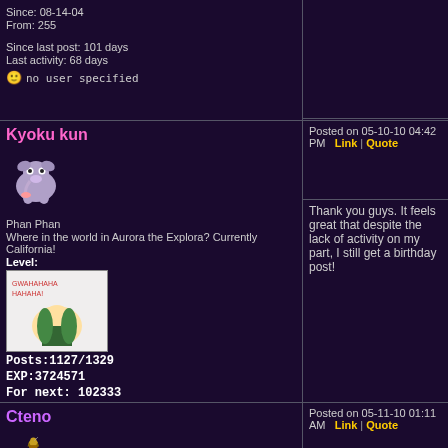Since: 08-14-04
From: 255

Since last post: 101 days
Last activity: 68 days
no user specified
Kyoku kun
Phan Phan
Where in the world in Aurora the Explora? Currently California!
Level:
Posts:1127/1329
EXP:3724571
For next: 102333

Since: 06-19-06
From: Northern California

Since last post: 3949 days
Last activity: 3576 days
no user specified
Posted on 05-10-10 04:42 PM
Link | Quote
Thank you guys. It feels great that despite the lack of activity on my part, I still get a birthday post!
Cteno
Posted on 05-11-10 01:11 AM
Link | Quote